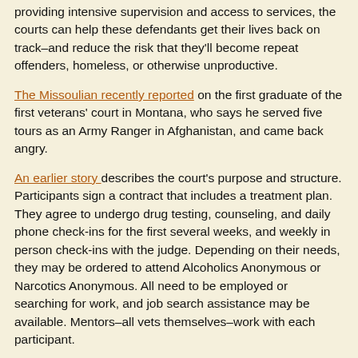providing intensive supervision and access to services, the courts can help these defendants get their lives back on track–and reduce the risk that they'll become repeat offenders, homeless, or otherwise unproductive.
The Missoulian recently reported on the first graduate of the first veterans' court in Montana, who says he served five tours as an Army Ranger in Afghanistan, and came back angry.
An earlier story describes the court's purpose and structure. Participants sign a contract that includes a treatment plan. They agree to undergo drug testing, counseling, and daily phone check-ins for the first several weeks, and weekly in person check-ins with the judge. Depending on their needs, they may be ordered to attend Alcoholics Anonymous or Narcotics Anonymous. All need to be employed or searching for work, and job search assistance may be available. Mentors–all vets themselves–work with each participant.
According to reporter Gwen Florio, one participant says a big difference between veterans' court and regular court systems is there's not much complaining. “We’re grateful for the opportunity not to be in jail.”
Successful participation can result in a reduced sentence or deferred prosecution.